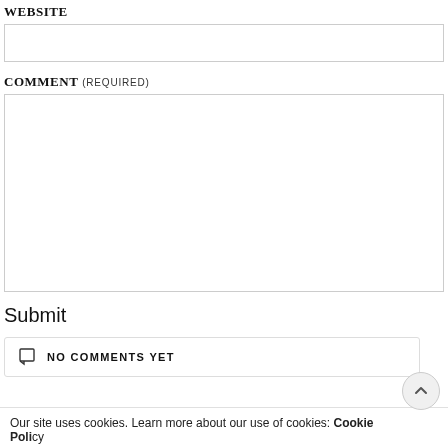WEBSITE
(empty input box for website URL)
COMMENT (REQUIRED)
(empty textarea for comment)
Submit
NO COMMENTS YET
Our site uses cookies. Learn more about our use of cookies: Cookie Policy